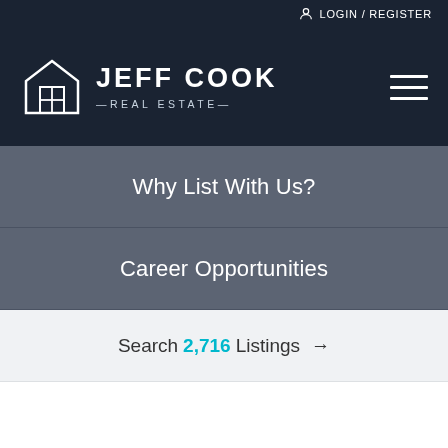LOGIN / REGISTER
[Figure (logo): Jeff Cook Real Estate logo with house icon]
Why List With Us?
Career Opportunities
Search 2,716 Listings →
Home > Williamston